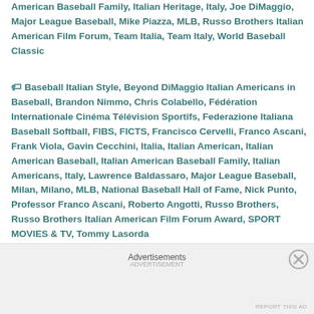American Baseball Family, Italian Heritage, Italy, Joe DiMaggio, Major League Baseball, Mike Piazza, MLB, Russo Brothers Italian American Film Forum, Team Italia, Team Italy, World Baseball Classic
Baseball Italian Style, Beyond DiMaggio Italian Americans in Baseball, Brandon Nimmo, Chris Colabello, Fédération Internationale Cinéma Télévision Sportifs, Federazione Italiana Baseball Softball, FIBS, FICTS, Francisco Cervelli, Franco Ascani, Frank Viola, Gavin Cecchini, Italia, Italian American, Italian American Baseball, Italian American Baseball Family, Italian Americans, Italy, Lawrence Baldassaro, Major League Baseball, Milan, Milano, MLB, National Baseball Hall of Fame, Nick Punto, Professor Franco Ascani, Roberto Angotti, Russo Brothers, Russo Brothers Italian American Film Forum Award, SPORT MOVIES & TV, Tommy Lasorda
Advertisements